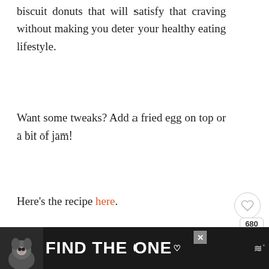biscuit donuts that will satisfy that craving without making you deter your healthy eating lifestyle.
Want some tweaks? Add a fried egg on top or a bit of jam!
Here's the recipe here.
[Figure (screenshot): Social sharing widget with heart icon, share count 680, and teal share button]
[Figure (screenshot): What's Next card showing '33 Unique Baked Swee...' with food thumbnail]
[Figure (screenshot): Dark ad banner reading FIND THE ONE with dog image and heart symbol, close button, Wattpad logo]